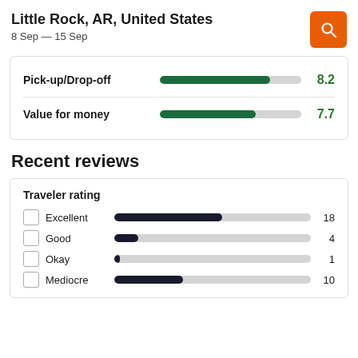Little Rock, AR, United States
8 Sep — 15 Sep
[Figure (bar-chart): Ratings]
Recent reviews
Traveler rating
[Figure (bar-chart): Traveler rating]